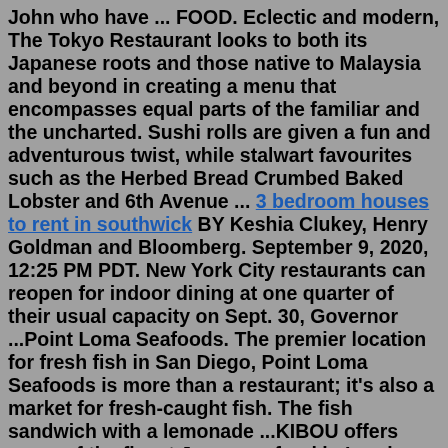John who have ... FOOD. Eclectic and modern, The Tokyo Restaurant looks to both its Japanese roots and those native to Malaysia and beyond in creating a menu that encompasses equal parts of the familiar and the uncharted. Sushi rolls are given a fun and adventurous twist, while stalwart favourites such as the Herbed Bread Crumbed Baked Lobster and 6th Avenue ... 3 bedroom houses to rent in southwick BY Keshia Clukey, Henry Goldman and Bloomberg. September 9, 2020, 12:25 PM PDT. New York City restaurants can reopen for indoor dining at one quarter of their usual capacity on Sept. 30, Governor ...Point Loma Seafoods. The premier location for fresh fish in San Diego, Point Loma Seafoods is more than a restaurant; it's also a market for fresh-caught fish. The fish sandwich with a lemonade ...KIBOU offers some of the finest Japanese food in London. From steaming hot bowls of ramen and melt-in-the-mouth bao buns, to fresh sushi and healthy poke bowls, their delicious dishes are delivering the goods. Chadsons, Battersea, Restaurants, Restaurant R...